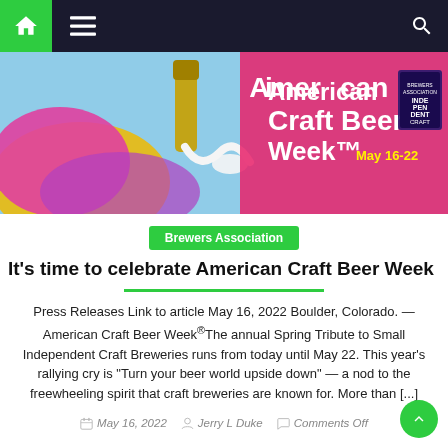Navigation bar with home, menu, and search icons
[Figure (illustration): American Craft Beer Week banner with colorful background, beer bottle pouring, and text 'American Craft Beer Week May 16-22' with independent craft brewer seal]
Brewers Association
It's time to celebrate American Craft Beer Week
Press Releases Link to article May 16, 2022 Boulder, Colorado. — American Craft Beer Week® The annual Spring Tribute to Small Independent Craft Breweries runs from today until May 22. This year's rallying cry is "Turn your beer world upside down" — a nod to the freewheeling spirit that craft breweries are known for. More than [...]
May 16, 2022  Jerry L Duke  Comments Off